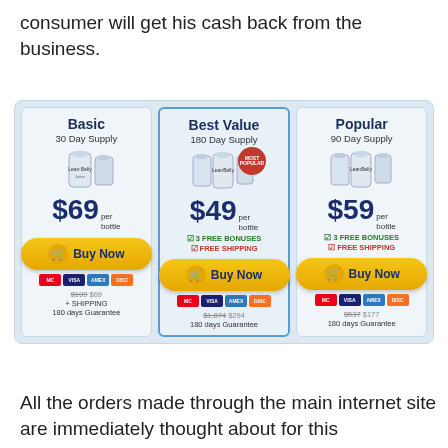consumer will get his cash back from the business.
[Figure (infographic): Three pricing cards for LeanBelly product: Basic $69/bottle 30 Day Supply, Best Value $49/bottle 180 Day Supply (Most Popular), Popular $59/bottle 90 Day Supply. Each card has Buy Now button, credit card logos, and guarantee info.]
All the orders made through the main internet site are immediately thought about for this